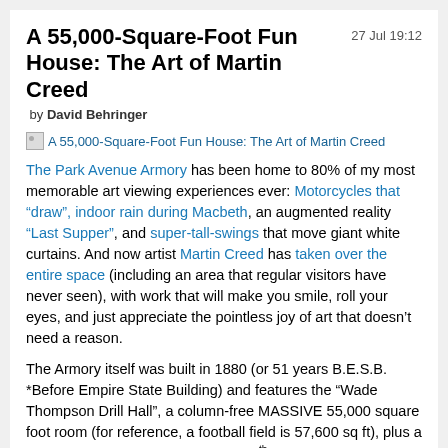A 55,000-Square-Foot Fun House: The Art of Martin Creed
27 Jul 19:12
by David Behringer
[Figure (other): Broken image placeholder with link: A 55,000-Square-Foot Fun House: The Art of Martin Creed]
The Park Avenue Armory has been home to 80% of my most memorable art viewing experiences ever: Motorcycles that “draw”, indoor rain during Macbeth, an augmented reality “Last Supper”, and super-tall-swings that move giant white curtains. And now artist Martin Creed has taken over the entire space (including an area that regular visitors have never seen), with work that will make you smile, roll your eyes, and just appreciate the pointless joy of art that doesn’t need a reason.
The Armory itself was built in 1880 (or 51 years B.E.S.B. *Before Empire State Building) and features the “Wade Thompson Drill Hall”, a column-free MASSIVE 55,000 square foot room (for reference, a football field is 57,600 sq ft), plus a handful of beautiful and decaying 19th Century offices, including a “library” designed by Louis Comfort Tiffany. Yeah. It’s awesome.
Artist Martin Creed is British, in his late 40s and, as you will discover as you wander through this 20-year selection of his work, doesn’t seem to question the practicality, “intelligence,” or safety of